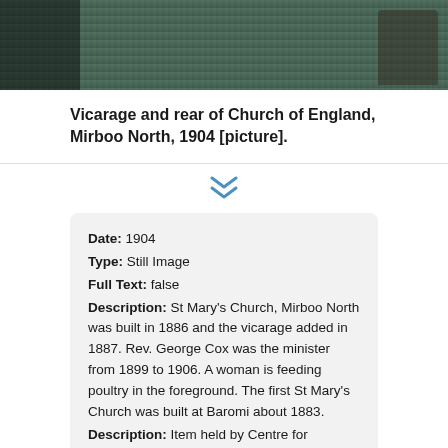[Figure (photo): Black and white photograph of the Vicarage and rear of Church of England, Mirboo North, 1904. Shows a building with vegetation and a figure on the right side.]
Vicarage and rear of Church of England, Mirboo North, 1904 [picture].
Date: 1904
Type: Still Image
Full Text: false
Description: St Mary's Church, Mirboo North was built in 1886 and the vicarage added in 1887. Rev. George Cox was the minister from 1899 to 1906. A woman is feeding poultry in the foreground. The first St Mary's Church was built at Baromi about 1883.
Description: Item held by Centre for Gippsland Studies, Federation University Australia.
Description: Record generated from title list.